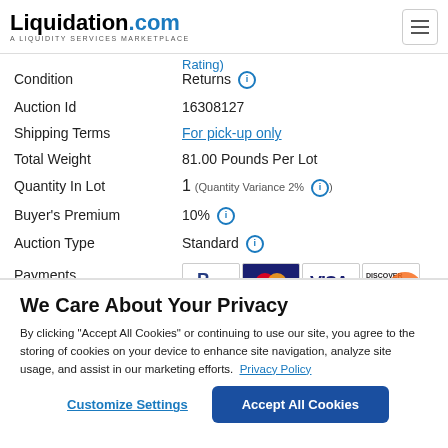Liquidation.com — A LIQUIDITY SERVICES MARKETPLACE
Rating)
| Field | Value |
| --- | --- |
| Condition | Returns |
| Auction Id | 16308127 |
| Shipping Terms | For pick-up only |
| Total Weight | 81.00 Pounds Per Lot |
| Quantity In Lot | 1 (Quantity Variance 2%) |
| Buyer's Premium | 10% |
| Auction Type | Standard |
| Payments | PayPal, MasterCard, VISA, DISCOVER |
We Care About Your Privacy
By clicking “Accept All Cookies” or continuing to use our site, you agree to the storing of cookies on your device to enhance site navigation, analyze site usage, and assist in our marketing efforts. Privacy Policy
Customize Settings
Accept All Cookies